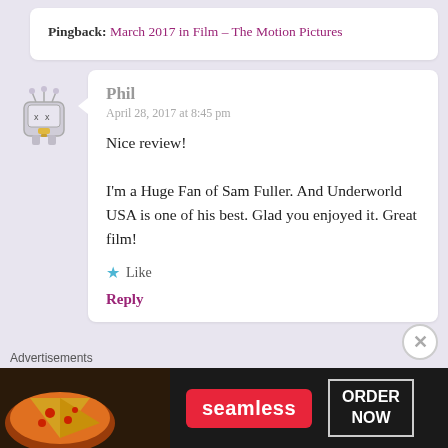Pingback: March 2017 in Film – The Motion Pictures
Phil
April 28, 2017 at 8:45 pm

Nice review!
I'm a Huge Fan of Sam Fuller. And Underworld USA is one of his best. Glad you enjoyed it. Great film!

★ Like

Reply
[Figure (photo): User avatar: cartoon robot/TV character illustration]
Advertisements
[Figure (photo): Seamless food delivery advertisement banner with pizza image, Seamless logo, and ORDER NOW button]